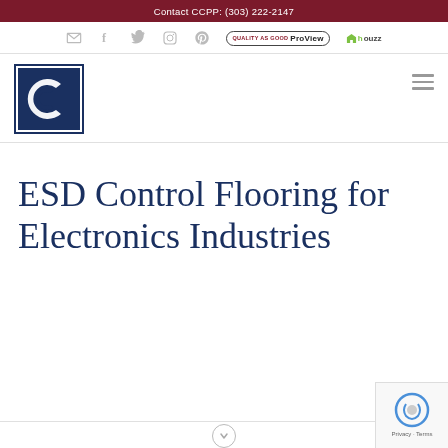Contact CCPP: (303) 222-2147
[Figure (screenshot): Social media navigation bar with icons for email, Facebook, Twitter, Instagram, Pinterest, ProView badge, and Houzz badge]
[Figure (logo): CCPP company logo: dark navy blue square with stylized double-C letter mark in white]
ESD Control Flooring for Electronics Industries